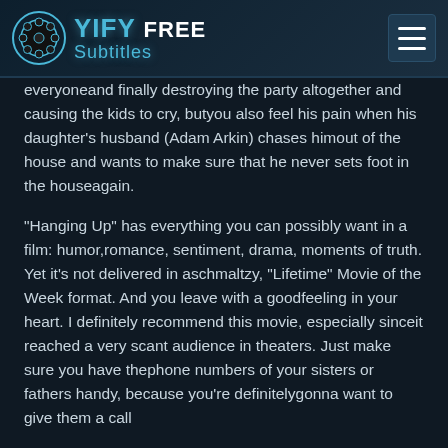YIFY FREE Subtitles
everyoneand finally destroying the party altogether and causing the kids to cry, butyou also feel his pain when his daughter's husband (Adam Arkin) chases himout of the house and wants to make sure that he never sets foot in the houseagain.
"Hanging Up" has everything you can possibly want in a film: humor,romance, sentiment, drama, moments of truth. Yet it's not delivered in aschmaltzy, "Lifetime" Movie of the Week format. And you leave with a goodfeeling in your heart. I definitely recommend this movie, especially sinceit reached a very scant audience in theaters. Just make sure you have thephone numbers of your sisters or fathers handy, because you're definitelygonna want to give them a call